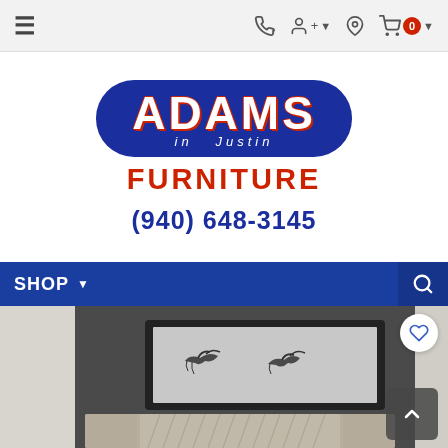Navigation bar with hamburger menu, phone icon, user icon, location icon, and cart (0)
[Figure (logo): Adams in Justin Furniture logo — blue rounded rectangle badge with white ADAMS text and red outline, italic 'in Justin' subtitle, red FURNITURE text below, and phone number (940) 648-3145 in blue]
(940) 648-3145
SHOP navigation bar with dropdown and search icon
[Figure (photo): Product photo of a bedroom scene: dark grey wall with a framed abstract bird artwork, and a bed headboard with geometric herringbone pattern in light wood/upholstered finish visible at bottom]